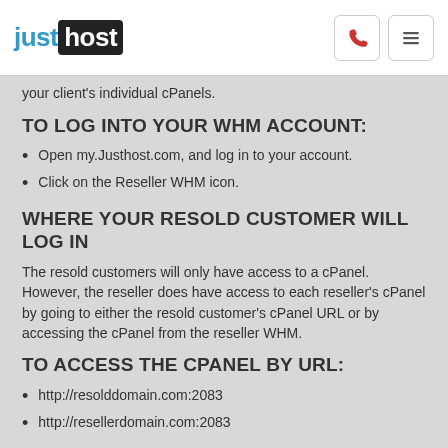justhost — logo and navigation icons
your client's individual cPanels.
TO LOG INTO YOUR WHM ACCOUNT:
Open my.Justhost.com, and log in to your account.
Click on the Reseller WHM icon.
WHERE YOUR RESOLD CUSTOMER WILL LOG IN
The resold customers will only have access to a cPanel. However, the reseller does have access to each reseller's cPanel by going to either the resold customer's cPanel URL or by accessing the cPanel from the reseller WHM.
TO ACCESS THE CPANEL BY URL:
http://resolddomain.com:2083
http://resellerdomain.com:2083